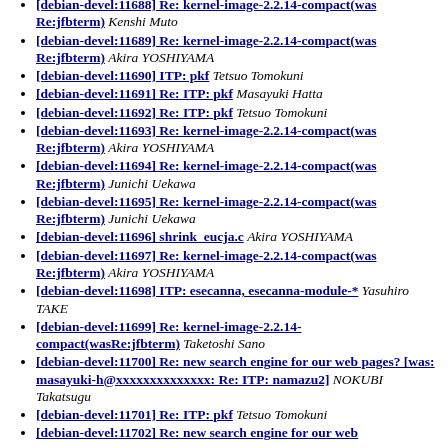[debian-devel:11688] Re: kernel-image-2.2.14-compact(was Re:jfbterm) Kenshi Muto
[debian-devel:11689] Re: kernel-image-2.2.14-compact(was Re:jfbterm) Akira YOSHIYAMA
[debian-devel:11690] ITP: pkf Tetsuo Tomokuni
[debian-devel:11691] Re: ITP: pkf Masayuki Hatta
[debian-devel:11692] Re: ITP: pkf Tetsuo Tomokuni
[debian-devel:11693] Re: kernel-image-2.2.14-compact(was Re:jfbterm) Akira YOSHIYAMA
[debian-devel:11694] Re: kernel-image-2.2.14-compact(was Re:jfbterm) Junichi Uekawa
[debian-devel:11695] Re: kernel-image-2.2.14-compact(was Re:jfbterm) Junichi Uekawa
[debian-devel:11696] shrink_eucja.c Akira YOSHIYAMA
[debian-devel:11697] Re: kernel-image-2.2.14-compact(was Re:jfbterm) Akira YOSHIYAMA
[debian-devel:11698] ITP: esecanna, esecanna-module-* Yasuhiro TAKE
[debian-devel:11699] Re: kernel-image-2.2.14-compact(wasRe:jfbterm) Taketoshi Sano
[debian-devel:11700] Re: new search engine for our web pages? [was: masayuki-h@xxxxxxxxxxxxxx: Re: ITP: namazu2] NOKUBI Takatsugu
[debian-devel:11701] Re: ITP: pkf Tetsuo Tomokuni
[debian-devel:11702] Re: new search engine for our web